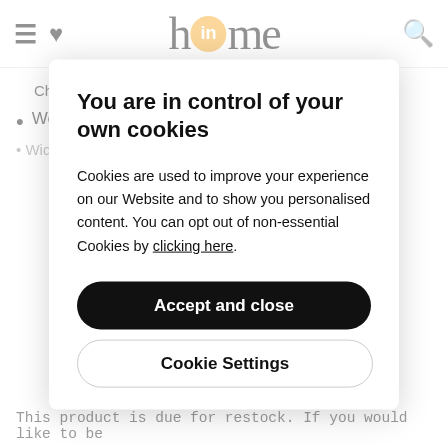home (inhome website header with hamburger, heart, and search icons)
Chrome sled frame
Weight capacity 110kg
Width / Seat Depth 57... height 10c...
You are in control of your own cookies
Cookies are used to improve your experience on our Website and to show you personalised content. You can opt out of non-essential Cookies by clicking here.
Accept and close
Cookie Settings
This product is due for restock. If you would like to be